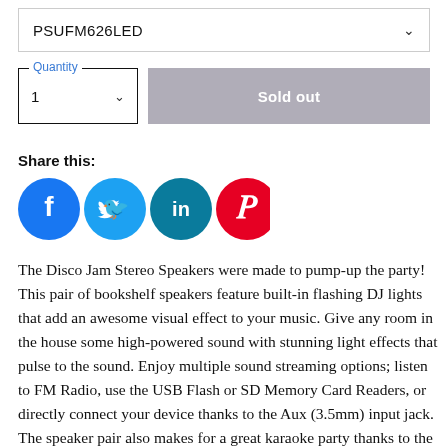PSUFM626LED
Quantity 1
Sold out
Share this:
[Figure (illustration): Social media share icons: Facebook (blue circle with f), Twitter (light blue circle with bird), LinkedIn (teal circle with in), Pinterest (red circle with P)]
The Disco Jam Stereo Speakers were made to pump-up the party! This pair of bookshelf speakers feature built-in flashing DJ lights that add an awesome visual effect to your music. Give any room in the house some high-powered sound with stunning light effects that pulse to the sound. Enjoy multiple sound streaming options; listen to FM Radio, use the USB Flash or SD Memory Card Readers, or directly connect your device thanks to the Aux (3.5mm) input jack. The speaker pair also makes for a great karaoke party thanks to the two 1/4'' microphone inputs. Pump-